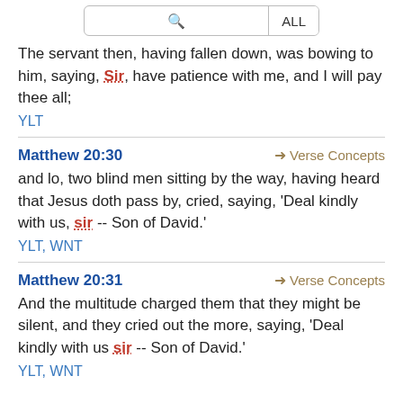[Figure (screenshot): Search bar with magnifying glass icon and ALL button]
The servant then, having fallen down, was bowing to him, saying, Sir, have patience with me, and I will pay thee all;
YLT
Matthew 20:30
Verse Concepts
and lo, two blind men sitting by the way, having heard that Jesus doth pass by, cried, saying, 'Deal kindly with us, sir -- Son of David.'
YLT, WNT
Matthew 20:31
Verse Concepts
And the multitude charged them that they might be silent, and they cried out the more, saying, 'Deal kindly with us sir -- Son of David.'
YLT, WNT